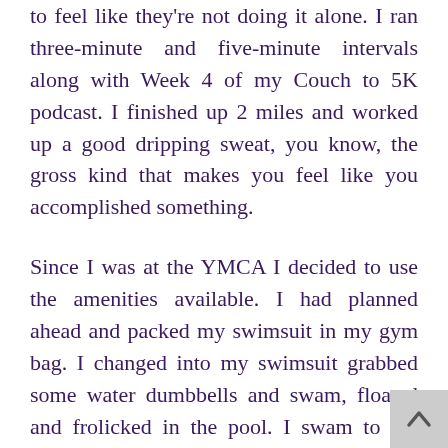to feel like they're not doing it alone. I ran three-minute and five-minute intervals along with Week 4 of my Couch to 5K podcast. I finished up 2 miles and worked up a good dripping sweat, you know, the gross kind that makes you feel like you accomplished something.
Since I was at the YMCA I decided to use the amenities available. I had planned ahead and packed my swimsuit in my gym bag. I changed into my swimsuit grabbed some water dumbbells and swam, floated and frolicked in the pool. I swam to the deep end and back a few times. Then I decided to get in the whirlpool jacuzzi. I saw a carmel-coated sexy piece of eye candy with an